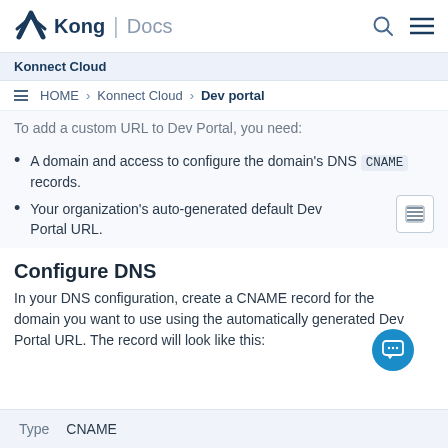Kong | Docs
Konnect Cloud
HOME › Konnect Cloud › Dev portal
To add a custom URL to Dev Portal, you need:
A domain and access to configure the domain's DNS CNAME records.
Your organization's auto-generated default Dev Portal URL.
Configure DNS
In your DNS configuration, create a CNAME record for the domain you want to use using the automatically generated Dev Portal URL. The record will look like this:
| Type |  |
| --- | --- |
| CNAME |  |